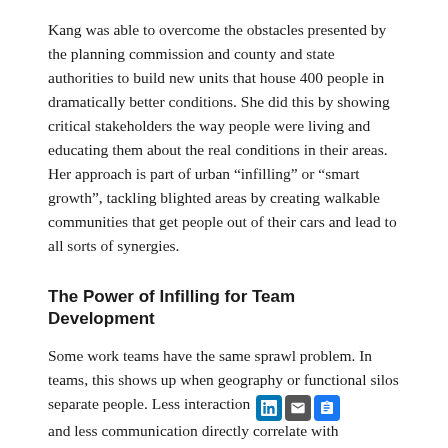Kang was able to overcome the obstacles presented by the planning commission and county and state authorities to build new units that house 400 people in dramatically better conditions. She did this by showing critical stakeholders the way people were living and educating them about the real conditions in their areas. Her approach is part of urban “infilling” or “smart growth”, tackling blighted areas by creating walkable communities that get people out of their cars and lead to all sorts of synergies.
The Power of Infilling for Team Development
Some work teams have the same sprawl problem. In teams, this shows up when geography or functional silos separate people. Less interaction and less communication directly correlate with